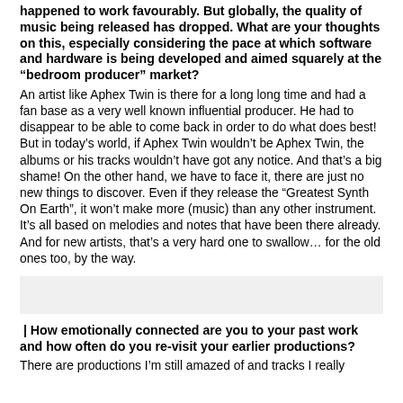happened to work favourably. But globally, the quality of music being released has dropped. What are your thoughts on this, especially considering the pace at which software and hardware is being developed and aimed squarely at the “bedroom producer” market?
An artist like Aphex Twin is there for a long long time and had a fan base as a very well known influential producer. He had to disappear to be able to come back in order to do what does best! But in today’s world, if Aphex Twin wouldn’t be Aphex Twin, the albums or his tracks wouldn’t have got any notice. And that’s a big shame! On the other hand, we have to face it, there are just no new things to discover. Even if they release the “Greatest Synth On Earth”, it won’t make more (music) than any other instrument. It’s all based on melodies and notes that have been there already. And for new artists, that’s a very hard one to swallow… for the old ones too, by the way.
| How emotionally connected are you to your past work and how often do you re-visit your earlier productions?
There are productions I’m still amazed of and tracks I really